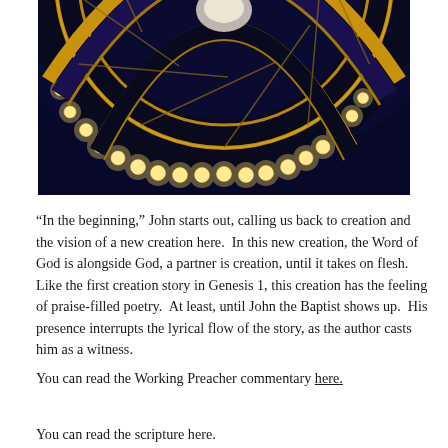[Figure (photo): A circular ornate chandelier or decorative ceiling fixture with golden orb lights arranged in a ring pattern against a dark navy background, viewed from below. The fixture has an elaborate dark and gold design with symbols around the ring.]
“In the beginning,” John starts out, calling us back to creation and the vision of a new creation here.  In this new creation, the Word of God is alongside God, a partner is creation, until it takes on flesh.  Like the first creation story in Genesis 1, this creation has the feeling of praise-filled poetry.  At least, until John the Baptist shows up.  His presence interrupts the lyrical flow of the story, as the author casts him as a witness.
You can read the Working Preacher commentary here.
You can read the scripture here.